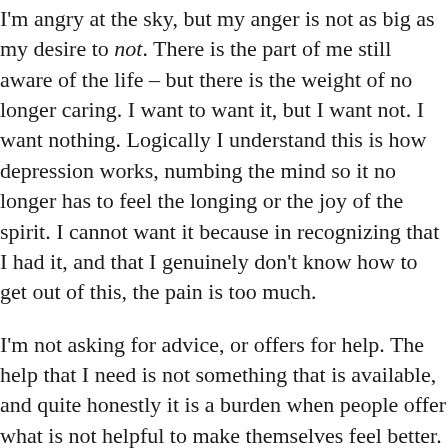I'm angry at the sky, but my anger is not as big as my desire to not. There is the part of me still aware of the life – but there is the weight of no longer caring. I want to want it, but I want not. I want nothing. Logically I understand this is how depression works, numbing the mind so it no longer has to feel the longing or the joy of the spirit. I cannot want it because in recognizing that I had it, and that I genuinely don't know how to get out of this, the pain is too much.
I'm not asking for advice, or offers for help. The help that I need is not something that is available, and quite honestly it is a burden when people offer what is not helpful to make themselves feel better. I appreciate that people care and want to be of service – but it is exhausting performing the role of the graciously suffering. I have to help myself, and I will, just as soon as the magical & inaccessible switch flips in its on good time, on its own damn schedule. Until then [Book Now] showing up, keep laughing, keep using the tools – and hope